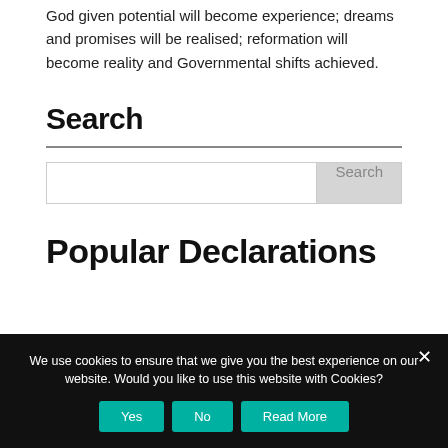God given potential will become experience; dreams and promises will be realised; reformation will become reality and Governmental shifts achieved.
Search
[Figure (screenshot): Search input box with a Search button on the right side]
Popular Declarations
We use cookies to ensure that we give you the best experience on our website. Would you like to use this website with Cookies?
Yes   No   Read More